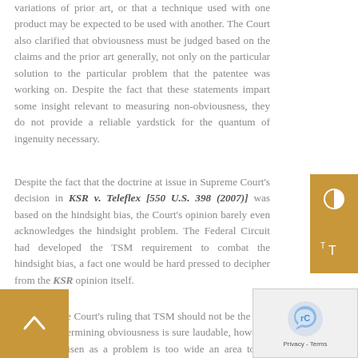variations of prior art, or that a technique used with one product may be expected to be used with another. The Court also clarified that obviousness must be judged based on the claims and the prior art generally, not only on the particular solution to the particular problem that the patentee was working on. Despite the fact that these statements impart some insight relevant to measuring non-obviousness, they do not provide a reliable yardstick for the quantum of ingenuity necessary.
Despite the fact that the doctrine at issue in Supreme Court's decision in KSR v. Teleflex [550 U.S. 398 (2007)] was based on the hindsight bias, the Court's opinion barely even acknowledges the hindsight problem. The Federal Circuit had developed the TSM requirement to combat the hindsight bias, a fact one would be hard pressed to decipher from the KSR opinion itself.
The Supreme Court's ruling that TSM should not be the sole basis for determining obviousness is sure laudable, however what has arisen as a problem is too wide an area to be interpreted. We have been left to interpret what common sense would be. It is